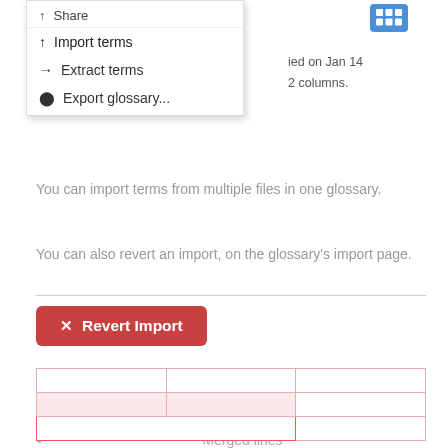[Figure (screenshot): Dropdown menu showing options: Import terms, Extract terms, Export glossary... with a blue grid icon in top-right corner and partial text 'ied on Jan 14' and '2 columns.' visible behind]
You can import terms from multiple files in one glossary.
You can also revert an import, on the glossary's import page.
[Figure (screenshot): Red button labeled 'Revert Import' with an X mark icon]
What can cause problems when importing a file:
Merged lines
Merged columns
[Figure (table-as-image): Partial table with 3 columns and 3 rows visible, with a pink/red highlighted row in the middle and a red border on the bottom row's left two cells]